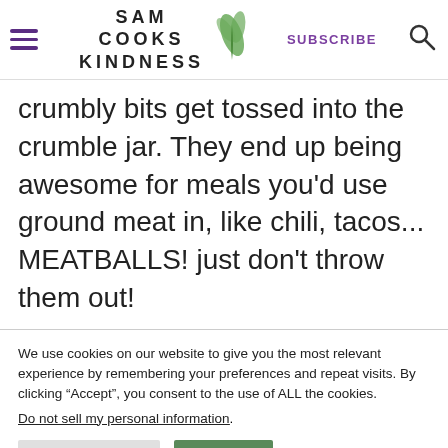SAM COOKS KINDNESS — SUBSCRIBE
crumbly bits get tossed into the crumble jar. They end up being awesome for meals you'd use ground meat in, like chili, tacos... MEATBALLS! just don't throw them out!
We use cookies on our website to give you the most relevant experience by remembering your preferences and repeat visits. By clicking “Accept”, you consent to the use of ALL the cookies. Do not sell my personal information.
Cookie Settings | Accept